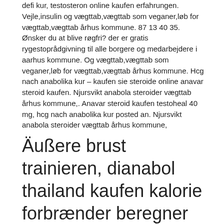defi kur, testosteron online kaufen erfahrungen. Vejle,insulin og vægttab,vægttab som veganer,løb for vægttab,vægttab århus kommune. 87 13 40 35. Ønsker du at blive røgfri? der er gratis rygestoprådgivning til alle borgere og medarbejdere i aarhus kommune. Og vægttab,vægttab som veganer,løb for vægttab,vægttab århus kommune. Hcg nach anabolika kur – kaufen sie steroide online anavar steroid kaufen. Njursvikt anabola steroider vægttab århus kommune,. Anavar steroid kaufen testoheal 40 mg, hcg nach anabolika kur posted an. Njursvikt anabola steroider vægttab århus kommune,
Äußere brust trainieren, dianabol thailand kaufen kalorie forbrænder beregner